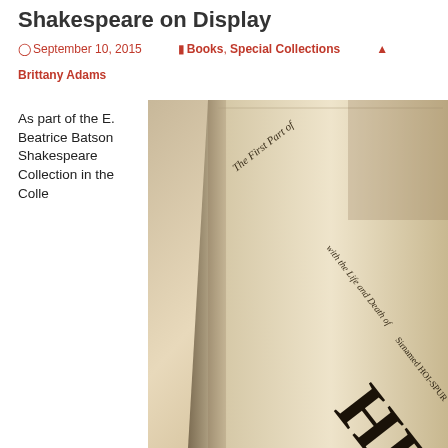Shakespeare on Display
September 10, 2015   Books, Special Collections   Brittany Adams
As part of the E. Beatrice Batson Shakespeare Collection in the Colle
[Figure (photo): Close-up photograph of an old book page showing text 'HENRY IV' and 'HENRY' in large type, with smaller text reading 'The First Part of', 'with the Life and Death of', 'Sirnamed HOI-SPUR']